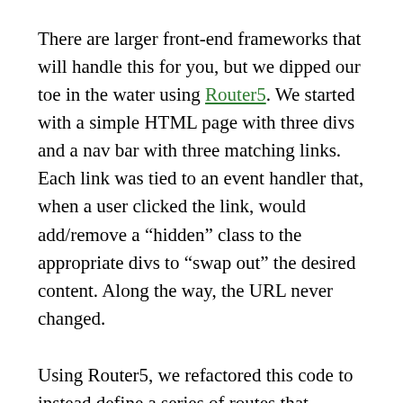There are larger front-end frameworks that will handle this for you, but we dipped our toe in the water using Router5. We started with a simple HTML page with three divs and a nav bar with three matching links. Each link was tied to an event handler that, when a user clicked the link, would add/remove a “hidden” class to the appropriate divs to “swap out” the desired content. Along the way, the URL never changed.
Using Router5, we refactored this code to instead define a series of routes that matched the previous links and register a series of URL paths based on the internal anchor links. Clicking on one of these links now uses the navigate method of Router5 to navigate to a specific route (i.e., change